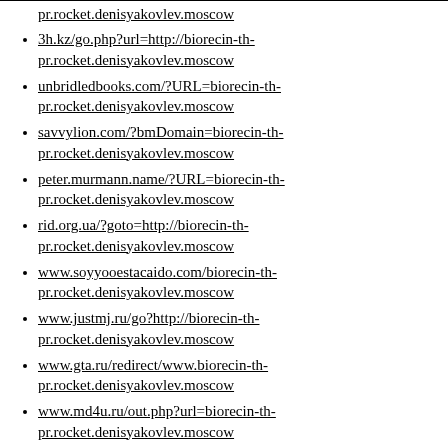pr.rocket.denisyakovlev.moscow
3h.kz/go.php?url=http://biorecin-th-pr.rocket.denisyakovlev.moscow
unbridledbooks.com/?URL=biorecin-th-pr.rocket.denisyakovlev.moscow
savvylion.com/?bmDomain=biorecin-th-pr.rocket.denisyakovlev.moscow
peter.murmann.name/?URL=biorecin-th-pr.rocket.denisyakovlev.moscow
rid.org.ua/?goto=http://biorecin-th-pr.rocket.denisyakovlev.moscow
www.soyyooestacaido.com/biorecin-th-pr.rocket.denisyakovlev.moscow
www.justmj.ru/go?http://biorecin-th-pr.rocket.denisyakovlev.moscow
www.gta.ru/redirect/www.biorecin-th-pr.rocket.denisyakovlev.moscow
www.md4u.ru/out.php?url=biorecin-th-pr.rocket.denisyakovlev.moscow